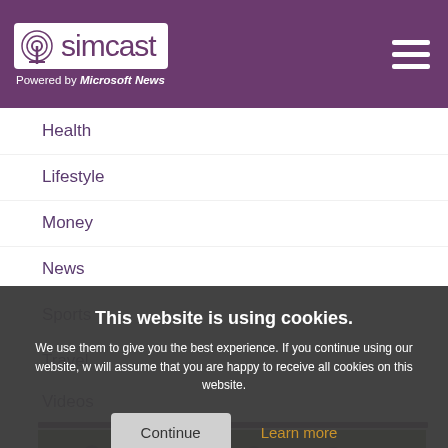simcast — Powered by Microsoft News
Health
Lifestyle
Money
News
Sports
Travel
Videos
This website is using cookies. We use them to give you the best experience. If you continue using our website, we will assume that you are happy to receive all cookies on this website.
[Figure (photo): Soldiers in military ACU uniforms standing on a grass field]
This is why ACUs have buttons on their pants and a zipper on the blouse